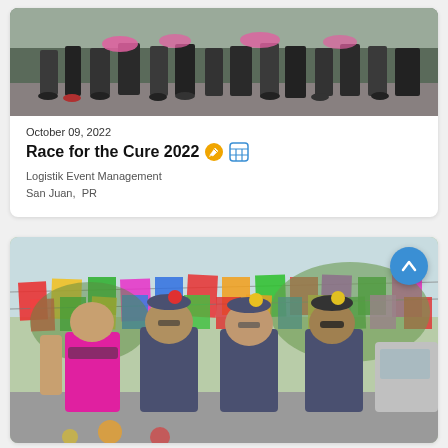[Figure (photo): Runners walking/running on a street, some wearing pink tutus or accessories, photographed from behind at a race event.]
October 09, 2022
Race for the Cure 2022
Logistik Event Management
San Juan,  PR
[Figure (photo): Four women smiling and posing together outdoors in front of colorful papel picado flags. Three are wearing matching dark gray Race for the Cure t-shirts and festive hats with flowers.]